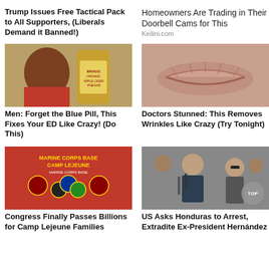Trump Issues Free Tactical Pack to All Supporters, (Liberals Demand it Banned!)
Homeowners Are Trading in Their Doorbell Cams for This
Keilini.com
[Figure (photo): Man holding a bottle of Bragg Organic Apple Cider Vinegar]
Men: Forget the Blue Pill, This Fixes Your ED Like Crazy! (Do This)
[Figure (photo): Close-up of wrinkled lips/skin]
Doctors Stunned: This Removes Wrinkles Like Crazy (Try Tonight)
[Figure (photo): Marine Corps Base Camp Lejeune sign with military emblems on red background]
Congress Finally Passes Billions for Camp Lejeune Families
[Figure (photo): Man speaking at microphones outdoors, with a TOP button overlay]
US Asks Honduras to Arrest, Extradite Ex-President Hernández